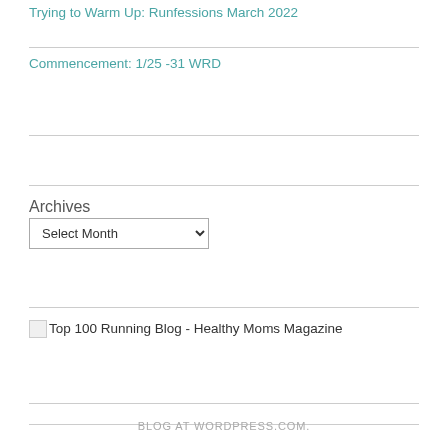Trying to Warm Up: Runfessions March 2022
Commencement: 1/25 -31 WRD
Archives
Select Month
[Figure (other): Broken image placeholder with alt text: Top 100 Running Blog - Healthy Moms Magazine]
BLOG AT WORDPRESS.COM.